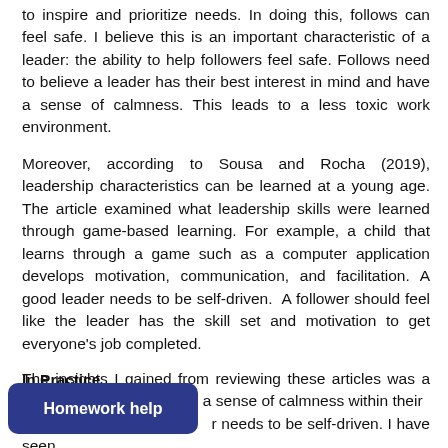to inspire and prioritize needs. In doing this, follows can feel safe. I believe this is an important characteristic of a leader: the ability to help followers feel safe. Follows need to believe a leader has their best interest in mind and have a sense of calmness. This leads to a less toxic work environment.
Moreover, according to Sousa and Rocha (2019), leadership characteristics can be learned at a young age. The article examined what leadership skills were learned through game-based learning. For example, a child that learns through a game such as a computer application develops motivation, communication, and facilitation. A good leader needs to be self-driven. A follower should feel like the leader has the skill set and motivation to get everyone's job completed.
In Practice
The insights I gained from reviewing these articles was a [obscured] a sense of calmness within their [obscured] r needs to be self-driven. I have seen